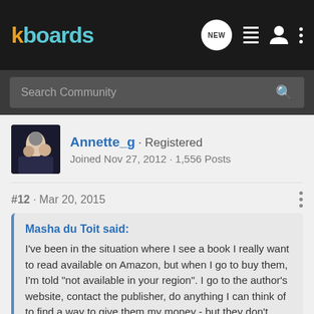kboards
Search Community
Annette_g · Registered
Joined Nov 27, 2012 · 1,556 Posts
#12 · Mar 20, 2015
Masha du Toit said:
I've been in the situation where I see a book I really want to read available on Amazon, but when I go to buy them, I'm told "not available in your region". I go to the author's website, contact the publisher, do anything I can think of to find a way to give them my money - but they don't reply.
Yep, a lot of a e-books that are available on Amazon US or other websites, are not available if you live in the UK for example. There's a fantasy book series I would love on Kindle,